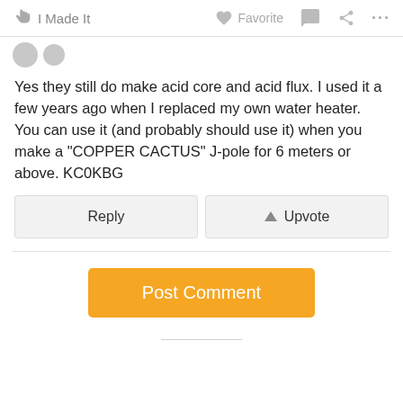I Made It | Favorite
Yes they still do make acid core and acid flux. I used it a few years ago when I replaced my own water heater. You can use it (and probably should use it) when you make a "COPPER CACTUS" J-pole for 6 meters or above. KC0KBG
Reply | Upvote
Post Comment